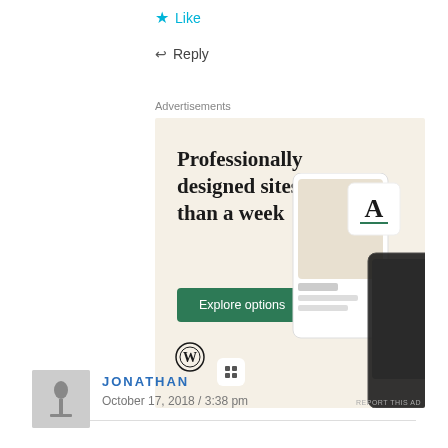★ Like
↩ Reply
Advertisements
[Figure (illustration): WordPress advertisement banner with beige background. Text reads: 'Professionally designed sites in less than a week' with a green 'Explore options' button. Shows website mockup screenshots and WordPress logo.]
REPORT THIS AD
JONATHAN
October 17, 2018 / 3:38 pm
[Figure (photo): Small avatar photo of a person, appears to be a profile thumbnail image in grayscale.]